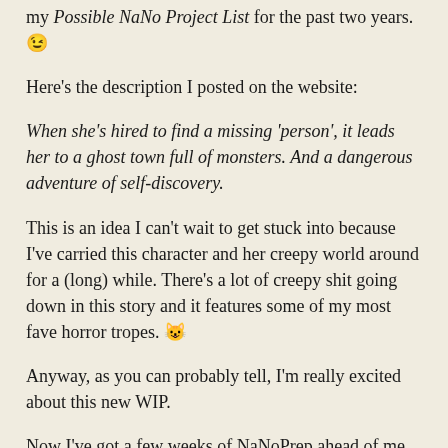my Possible NaNo Project List for the past two years. 🙂
Here's the description I posted on the website:
When she's hired to find a missing 'person', it leads her to a ghost town full of monsters. And a dangerous adventure of self-discovery.
This is an idea I can't wait to get stuck into because I've carried this character and her creepy world around for a (long) while. There's a lot of creepy shit going down in this story and it features some of my most fave horror tropes. 😺
Anyway, as you can probably tell, I'm really excited about this new WIP.
Now I've got a few weeks of NaNoPrep ahead of me, and that's definitely enough time to go through my inspirational pics, think, take notes and get lots of brainstorming done.
Are you taking part?